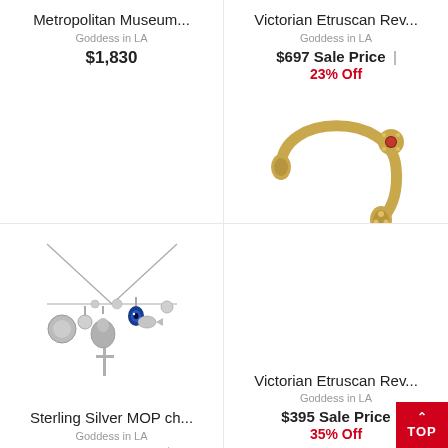Metropolitan Museum...
Goddess in LA
$1,830
[Figure (photo): Sterling silver charm necklace with cross, coins, eye charm and other charms]
Victorian Etruscan Rev...
Goddess in LA
$697 Sale Price
23% Off
[Figure (photo): Gold tone open cuff bracelet with ornate ends and red stone]
Sterling Silver MOP ch...
Goddess in LA
$325 Sale Price
34% Off
Victorian Etruscan Rev...
Goddess in LA
$395 Sale Price
35% Off